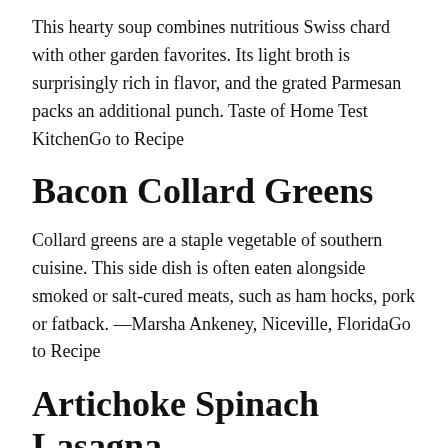This hearty soup combines nutritious Swiss chard with other garden favorites. Its light broth is surprisingly rich in flavor, and the grated Parmesan packs an additional punch. Taste of Home Test KitchenGo to Recipe
Bacon Collard Greens
Collard greens are a staple vegetable of southern cuisine. This side dish is often eaten alongside smoked or salt-cured meats, such as ham hocks, pork or fatback. —Marsha Ankeney, Niceville, FloridaGo to Recipe
Artichoke Spinach Lasagna
Friends of ours served this homey dish when we visited them in Maryland. We just had to get the